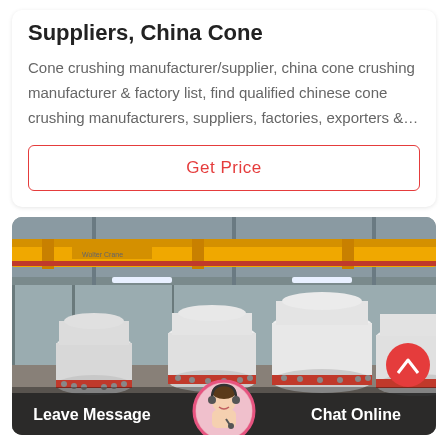Suppliers, China Cone
Cone crushing manufacturer/supplier, china cone crushing manufacturer & factory list, find qualified chinese cone crushing manufacturers, suppliers, factories, exporters &…
Get Price
[Figure (photo): Industrial factory interior showing large white cone crusher machines lined up, with a yellow overhead crane visible in the background under a high ceiling.]
Leave Message
Chat Online